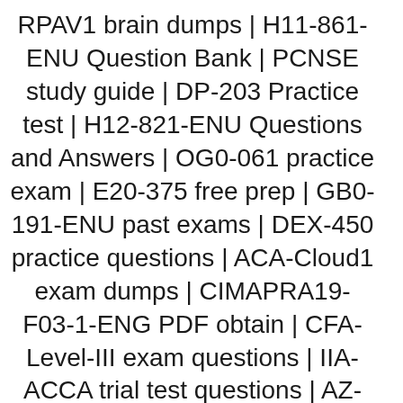RPAV1 brain dumps | H11-861-ENU Question Bank | PCNSE study guide | DP-203 Practice test | H12-821-ENU Questions and Answers | OG0-061 practice exam | E20-375 free prep | GB0-191-ENU past exams | DEX-450 practice questions | ACA-Cloud1 exam dumps | CIMAPRA19-F03-1-ENG PDF obtain | CFA-Level-III exam questions | IIA-ACCA trial test questions | AZ-120 PDF obtain | DA-100 boot camp | 2V0-31.21 Dumps | C100DBA exam prep | CISM test example | Salesforce-Certified Marketing Cloud Email